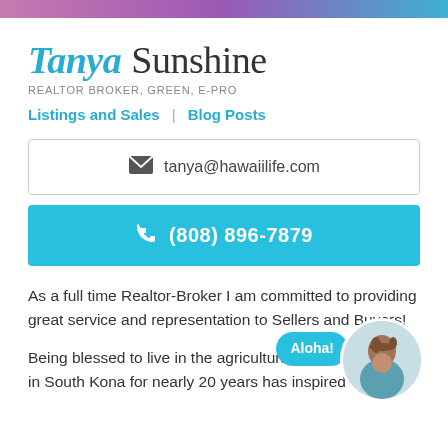Tanya Sunshine
REALTOR BROKER, GREEN, E-PRO
Listings and Sales | Blog Posts
tanya@hawaiilife.com
(808) 896-7879
As a full time Realtor-Broker I am committed to providing great service and representation to Sellers and Buyers!
Being blessed to live in the agricultural belt of the Bi in South Kona for nearly 20 years has inspired me to